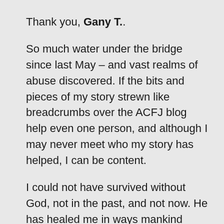Thank you, Gany T..
So much water under the bridge since last May – and vast realms of abuse discovered. If the bits and pieces of my story strewn like breadcrumbs over the ACFJ blog help even one person, and although I may never meet who my story has helped, I can be content.
I could not have survived without God, not in the past, and not now. He has healed me in ways mankind could never do, and He has given me back life.
And just as my massive pool of silent grief was released through music Christmas Eve